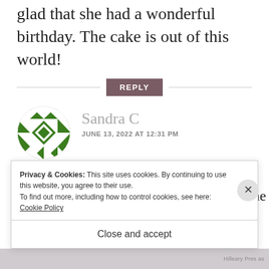glad that she had a wonderful birthday. The cake is out of this world!
REPLY
[Figure (illustration): Green geometric quilt-pattern circular avatar icon for user Sandra C]
Sandra C
JUNE 13, 2022 AT 12:31 PM
What a fabulous fun card and the surprise monkey punch art is perfect on the i s
Privacy & Cookies: This site uses cookies. By continuing to use this website, you agree to their use.
To find out more, including how to control cookies, see here: Cookie Policy
Close and accept